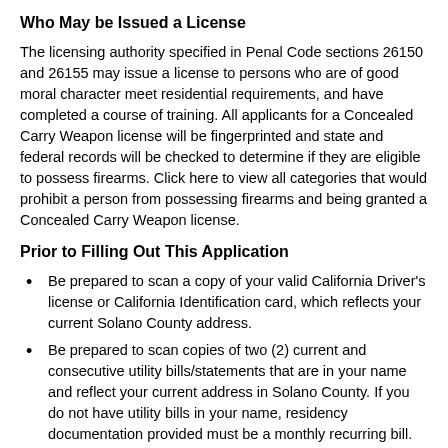Who May be Issued a License
The licensing authority specified in Penal Code sections 26150 and 26155 may issue a license to persons who are of good moral character meet residential requirements, and have completed a course of training. All applicants for a Concealed Carry Weapon license will be fingerprinted and state and federal records will be checked to determine if they are eligible to possess firearms. Click here to view all categories that would prohibit a person from possessing firearms and being granted a Concealed Carry Weapon license.
Prior to Filling Out This Application
Be prepared to scan a copy of your valid California Driver’s license or California Identification card, which reflects your current Solano County address.
Be prepared to scan copies of two (2) current and consecutive utility bills/statements that are in your name and reflect your current address in Solano County. If you do not have utility bills in your name, residency documentation provided must be a monthly recurring bill. Mortgage statements and annual bills are NOT accepted. Past due bills/statements are NOT accepted.
Be sure that each firearm you plan on listing on your Concealed Carry Weapon license is on record in the state of California in your name or your spouse’s name.